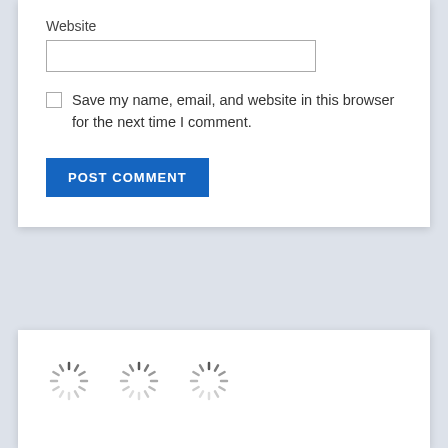Website
Save my name, email, and website in this browser for the next time I comment.
POST COMMENT
[Figure (other): Three loading spinner icons (animated circle spinners) displayed in a row inside a white card panel on a light blue-gray background.]